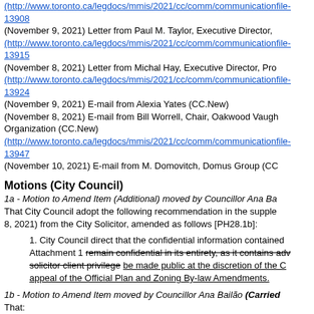(http://www.toronto.ca/legdocs/mmis/2021/cc/comm/communicationfile-13908
(November 9, 2021) Letter from Paul M. Taylor, Executive Director,
(http://www.toronto.ca/legdocs/mmis/2021/cc/comm/communicationfile-13915
(November 8, 2021) Letter from Michal Hay, Executive Director, Pro
(http://www.toronto.ca/legdocs/mmis/2021/cc/comm/communicationfile-13924
(November 9, 2021) E-mail from Alexia Yates (CC.New)
(November 8, 2021) E-mail from Bill Worrell, Chair, Oakwood Vaughan Organization (CC.New)
(http://www.toronto.ca/legdocs/mmis/2021/cc/comm/communicationfile-13947
(November 10, 2021) E-mail from M. Domovitch, Domus Group (CC
Motions (City Council)
1a - Motion to Amend Item (Additional) moved by Councillor Ana Ba
That City Council adopt the following recommendation in the supplementary report (November 8, 2021) from the City Solicitor, amended as follows [PH28.1b]:
1. City Council direct that the confidential information contained in Attachment 1 remain confidential in its entirety, as it contains advice subject to solicitor client privilege be made public at the discretion of the City Solicitor, following settlement or final determination of the appeal of the Official Plan and Zoning By-law Amendments.
1b - Motion to Amend Item moved by Councillor Ana Bailão (Carried)
That:
1. City Council adopt the following recommendations in the supplementary